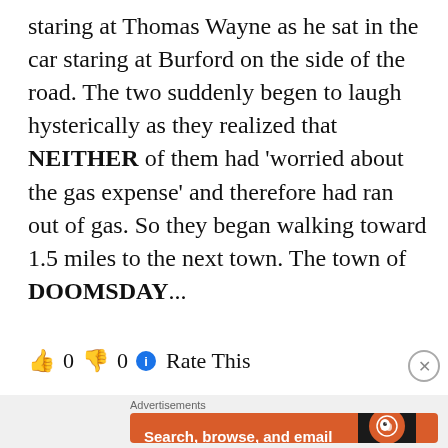staring at Thomas Wayne as he sat in the car staring at Burford on the side of the road. The two suddenly begen to laugh hysterically as they realized that NEITHER of them had 'worried about the gas expense' and therefore had ran out of gas. So they began walking toward 1.5 miles to the next town. The town of DOOMSDAY...
👍 0 👎 0 ℹ Rate This
[Figure (screenshot): DuckDuckGo advertisement banner: orange background with text 'Search, browse, and email with more privacy. All in One Free App' and a phone image with DuckDuckGo logo]